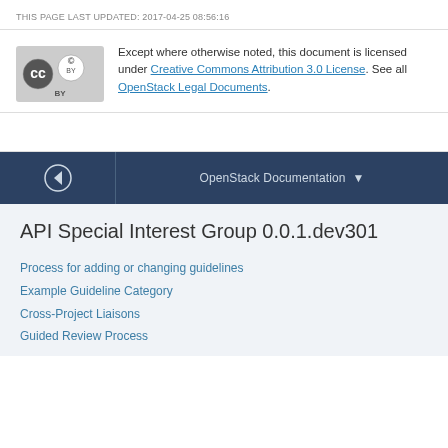THIS PAGE LAST UPDATED: 2017-04-25 08:56:16
Except where otherwise noted, this document is licensed under Creative Commons Attribution 3.0 License. See all OpenStack Legal Documents.
[Figure (logo): Creative Commons Attribution (CC BY) logo badge]
API Special Interest Group 0.0.1.dev301
Process for adding or changing guidelines
Example Guideline Category
Cross-Project Liaisons
Guided Review Process